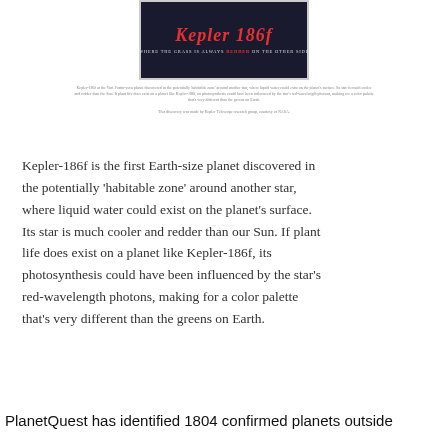[Figure (illustration): Poster for Kepler-186f with dark background and red stylized title text reading 'Kepler 186f' and subtitle 'WHERE THE GRASS IS ALWAYS REDDER ON THE OTHER SIDE']
Kepler-186f at the Yuri Fortin-yura planet discovered in the potentially 'habitable zone' around another star, where liquid water could exist on the planet's surface. Its star is much cooler and redder than the Sun. If plant life does exist on a planet like Kepler-186f, its photosynthesis could have been influenced by the star's red-wavelength photons, making for a color palette that's very different than the greens on Earth. This discovery was made by Kepler Telescope and the University of Basel.
Kepler-186f is the first Earth-size planet discovered in the potentially 'habitable zone' around another star, where liquid water could exist on the planet's surface. Its star is much cooler and redder than our Sun. If plant life does exist on a planet like Kepler-186f, its photosynthesis could have been influenced by the star's red-wavelength photons, making for a color palette that's very different than the greens on Earth.
PlanetQuest has identified 1804 confirmed planets outside